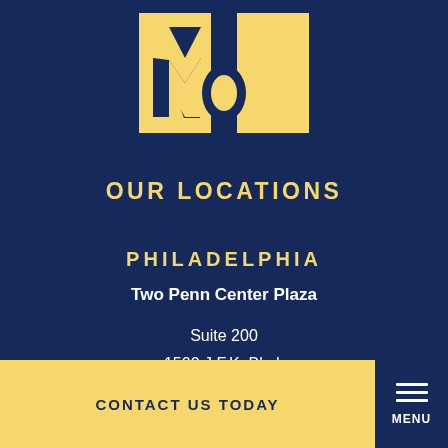[Figure (logo): NPT law firm logo — yellow geometric letters N, P, T on a dark navy background]
OUR LOCATIONS
PHILADELPHIA
Two Penn Center Plaza
Suite 200
1500 J.F.K. Blvd.
Philadelphia, PA 19102
CONTACT US TODAY
MENU